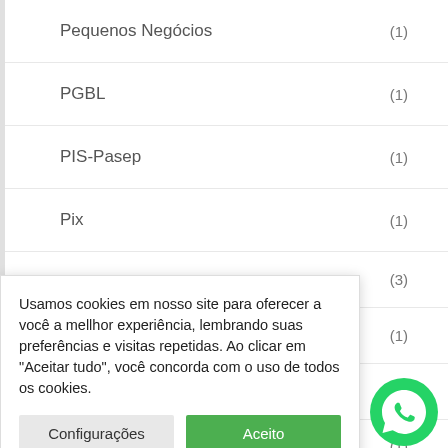Pequenos Negócios (1)
PGBL (1)
PIS-Pasep (1)
Pix (1)
(3)
(1)
(1)
(1)
Usamos cookies em nosso site para oferecer a você a mellhor experiência, lembrando suas preferências e visitas repetidas. Ao clicar em "Aceitar tudo", você concorda com o uso de todos os cookies.
Configurações | Aceito